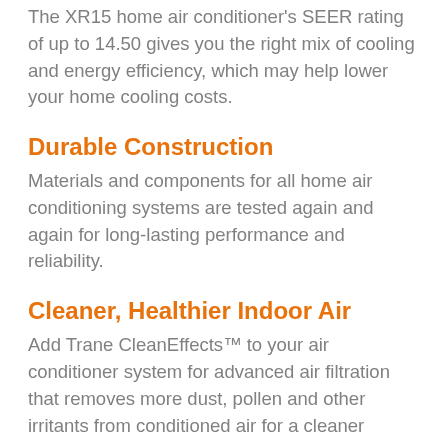The XR15 home air conditioner's SEER rating of up to 14.50 gives you the right mix of cooling and energy efficiency, which may help lower your home cooling costs.
Durable Construction
Materials and components for all home air conditioning systems are tested again and again for long-lasting performance and reliability.
Cleaner, Healthier Indoor Air
Add Trane CleanEffects™ to your air conditioner system for advanced air filtration that removes more dust, pollen and other irritants from conditioned air for a cleaner